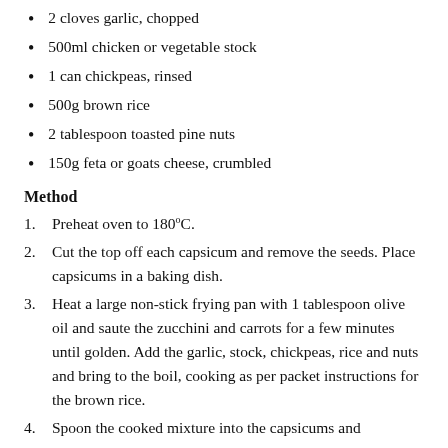2 cloves garlic, chopped
500ml chicken or vegetable stock
1 can chickpeas, rinsed
500g brown rice
2 tablespoon toasted pine nuts
150g feta or goats cheese, crumbled
Method
Preheat oven to 180°C.
Cut the top off each capsicum and remove the seeds. Place capsicums in a baking dish.
Heat a large non-stick frying pan with 1 tablespoon olive oil and saute the zucchini and carrots for a few minutes until golden. Add the garlic, stock, chickpeas, rice and nuts and bring to the boil, cooking as per packet instructions for the brown rice.
Spoon the cooked mixture into the capsicums and